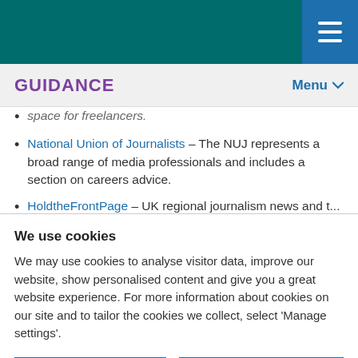GUIDANCE | Menu
space for freelancers.
National Union of Journalists – The NUJ represents a broad range of media professionals and includes a section on careers advice.
HoldtheFrontPage – UK regional journalism news and t...
We use cookies
We may use cookies to analyse visitor data, improve our website, show personalised content and give you a great website experience. For more information about cookies on our site and to tailor the cookies we collect, select 'Manage settings'.
I'm OK with cookies | Manage settings